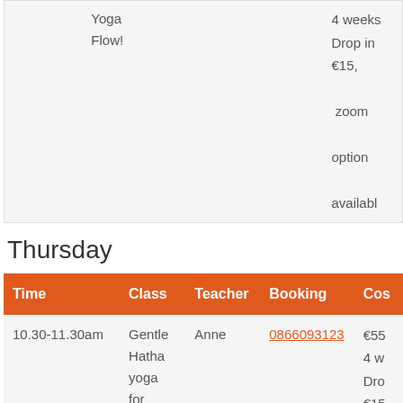| Time | Class | Teacher | Booking | Cost |
| --- | --- | --- | --- | --- |
|  | Yoga Flow! |  |  | 4 weeks Drop in €15, zoom option available |
Thursday
| Time | Class | Teacher | Booking | Cost |
| --- | --- | --- | --- | --- |
| 10.30-11.30am | Gentle Hatha yoga for all! | Anne | 0866093123 | €55 4 weeks Drop in €15, zoom option available |